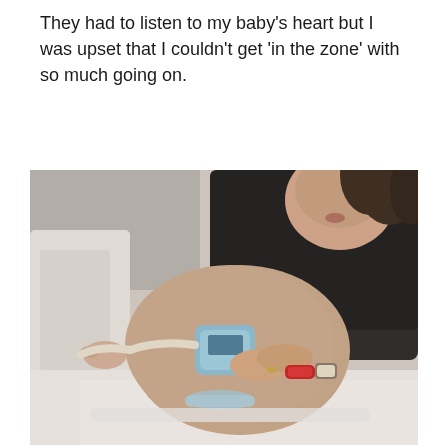They had to listen to my baby's heart but I was upset that I couldn't get 'in the zone' with so much going on.
[Figure (photo): A pregnant woman in a black top lying in a hospital bed during labor, holding a fetal heart rate monitor (CTG transducer) on her belly. She is wearing a red hospital wristband and a watch. A healthcare provider's hand is visible on the left adjusting equipment. A tube/cable runs across the abdomen connected to the monitoring device.]